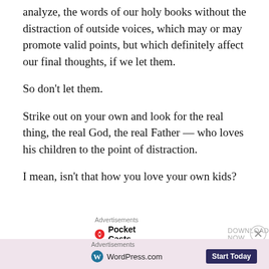analyze, the words of our holy books without the distraction of outside voices, which may or may promote valid points, but which definitely affect our final thoughts, if we let them.
So don’t let them.
Strike out on your own and look for the real thing, the real God, the real Father — who loves his children to the point of distraction.
I mean, isn’t that how you love your own kids?
[Figure (screenshot): Pocket Casts advertisement with logo and DOWNLOAD NOW call to action]
[Figure (screenshot): WordPress.com advertisement with logo and Start Today button on pink background]